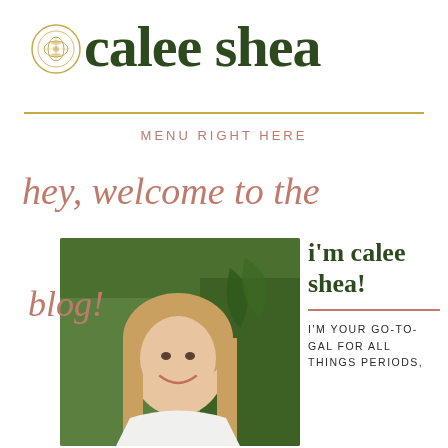calee shea
MENU RIGHT HERE
hey, welcome to the
[Figure (photo): Young woman with long blonde hair smiling outdoors with green foliage in background]
blog!
i'm calee shea!
I'M YOUR GO-TO-GAL FOR ALL THINGS PERIODS,